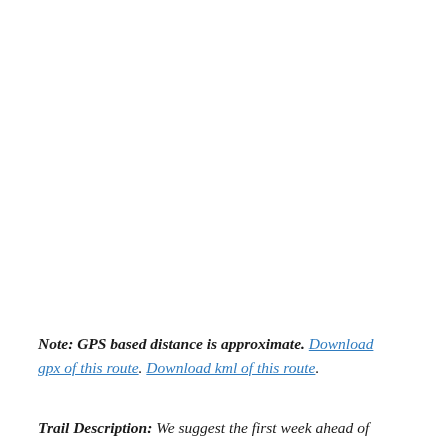Note: GPS based distance is approximate. Download gpx of this route. Download kml of this route.
Trail Description: We suggest the first week ahead of